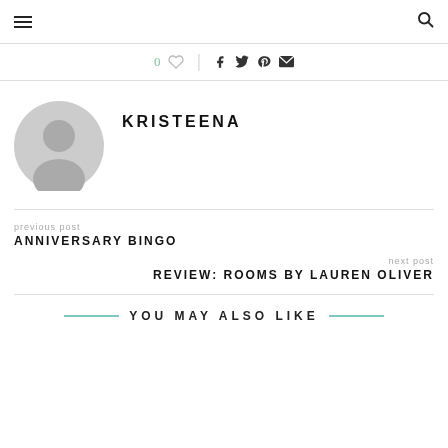≡  🔍
0 ♡  |  f  𝕥  𝓅  ✉
KRISTEENA
[Figure (illustration): Gray placeholder avatar showing a generic person silhouette with circle head on a gray circle background]
previous post
ANNIVERSARY BINGO
next post
REVIEW: ROOMS BY LAUREN OLIVER
YOU MAY ALSO LIKE